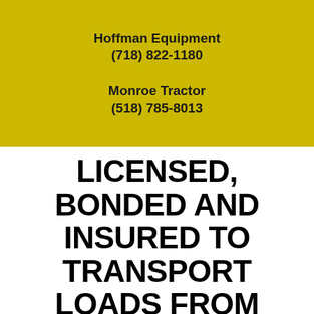Hoffman Equipment
(718) 822-1180
Monroe Tractor
(518) 785-8013
LICENSED, BONDED AND INSURED TO TRANSPORT LOADS FROM SOUTH DAKOTA TO NEW YORK
Tractor Transport is fully licensed, bonded and